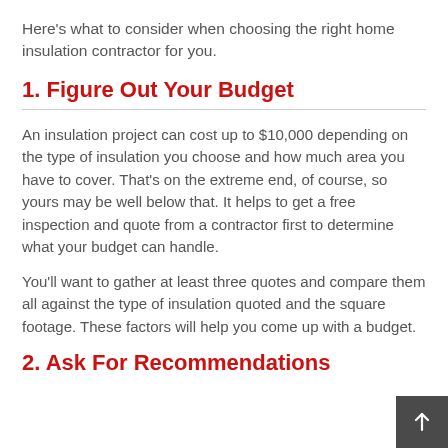Here's what to consider when choosing the right home insulation contractor for you.
1. Figure Out Your Budget
An insulation project can cost up to $10,000 depending on the type of insulation you choose and how much area you have to cover. That's on the extreme end, of course, so yours may be well below that. It helps to get a free inspection and quote from a contractor first to determine what your budget can handle.
You'll want to gather at least three quotes and compare them all against the type of insulation quoted and the square footage. These factors will help you come up with a budget.
2. Ask For Recommendations